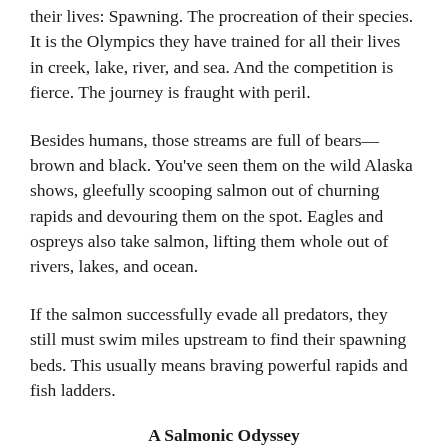their lives: Spawning. The procreation of their species. It is the Olympics they have trained for all their lives in creek, lake, river, and sea. And the competition is fierce. The journey is fraught with peril.
Besides humans, those streams are full of bears—brown and black. You've seen them on the wild Alaska shows, gleefully scooping salmon out of churning rapids and devouring them on the spot. Eagles and ospreys also take salmon, lifting them whole out of rivers, lakes, and ocean.
If the salmon successfully evade all predators, they still must swim miles upstream to find their spawning beds. This usually means braving powerful rapids and fish ladders.
A Salmonic Odyssey
In Ketchikan, our dauntless daughter, Katie, led